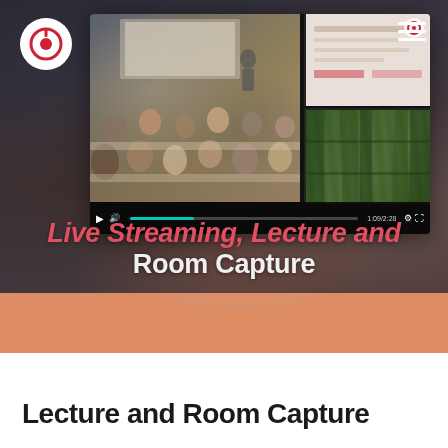[Figure (screenshot): Hero banner showing a university lecture hall with students, overlaid with a video player interface showing multiple camera feeds (classroom view and slide/plant imagery). A circular logo with an 'e' icon appears top-left and a hamburger menu top-right.]
Live Streaming, Lecture and Room Capture
Lecture and Room Capture